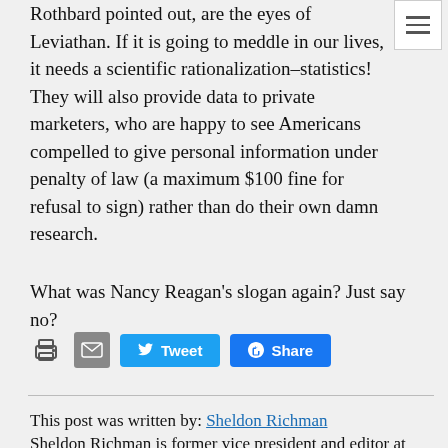Rothbard pointed out, are the eyes of Leviathan. If it is going to meddle in our lives, it needs a scientific rationalization–statistics! They will also provide data to private marketers, who are happy to see Americans compelled to give personal information under penalty of law (a maximum $100 fine for refusal to sign) rather than do their own damn research.
What was Nancy Reagan's slogan again? Just say no?
This post was written by: Sheldon Richman
Sheldon Richman is former vice president and editor at